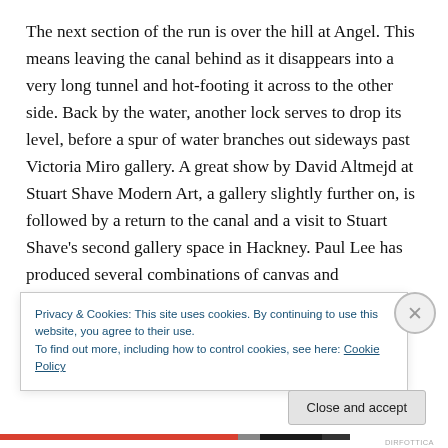The next section of the run is over the hill at Angel. This means leaving the canal behind as it disappears into a very long tunnel and hot-footing it across to the other side. Back by the water, another lock serves to drop its level, before a spur of water branches out sideways past Victoria Miro gallery. A great show by David Altmejd at Stuart Shave Modern Art, a gallery slightly further on, is followed by a return to the canal and a visit to Stuart Shave's second gallery space in Hackney. Paul Lee has produced several combinations of canvas and tambourines, the
Privacy & Cookies: This site uses cookies. By continuing to use this website, you agree to their use.
To find out more, including how to control cookies, see here: Cookie Policy
Close and accept